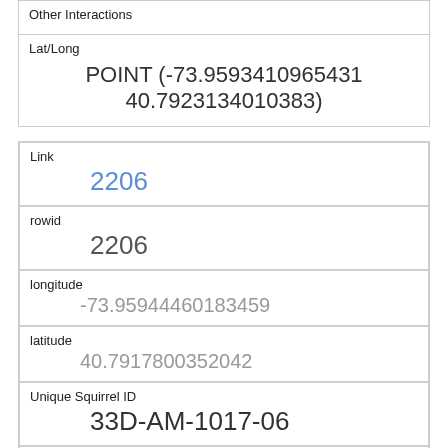Other Interactions
| Lat/Long |
| --- |
| POINT (-73.9593410965431 40.7923134010383) |
| Link | rowid | longitude | latitude | Unique Squirrel ID | Hectare | Shift | Date |
| --- | --- | --- | --- | --- | --- | --- | --- |
| 2206 | 2206 | -73.95944460183459 | 40.7917800352042 | 33D-AM-1017-06 | 33D | AM | 10172018 |